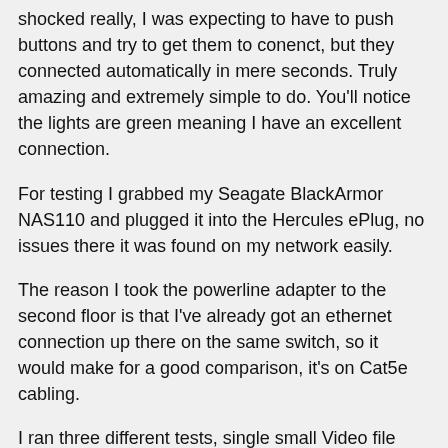shocked really, I was expecting to have to push buttons and try to get them to conenct, but they connected automatically in mere seconds. Truly amazing and extremely simple to do. You'll notice the lights are green meaning I have an excellent connection.
For testing I grabbed my Seagate BlackArmor NAS110 and plugged it into the Hercules ePlug, no issues there it was found on my network easily.
The reason I took the powerline adapter to the second floor is that I've already got an ethernet connection up there on the same switch, so it would make for a good comparison, it's on Cat5e cabling.
I ran three different tests, single small Video file (900mb), single large ISO file (3.02gb) and a files/folders test (874 files within 199 folders total of 3gb).
I ran the tests both ways, upload and download to and from my computer.
These were done via FTP transfer, at the end of the transfer my